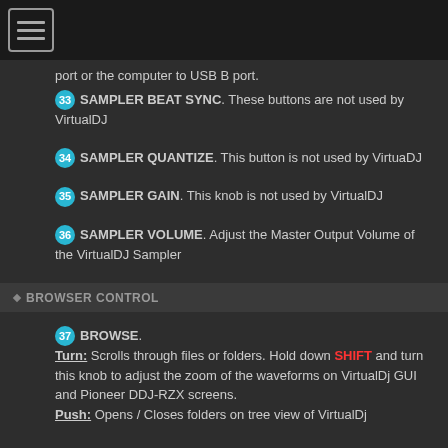[menu icon]
port or the computer to USB B port.
33 SAMPLER BEAT SYNC. These buttons are not used by VirtualDJ
34 SAMPLER QUANTIZE. This button is not used by VirtuaDJ
35 SAMPLER GAIN. This knob is not used by VirtualDJ
36 SAMPLER VOLUME. Adjust the Master Output Volume of the VirtualDJ Sampler
BROWSER CONTROL
37 BROWSE. Turn: Scrolls through files or folders. Hold down SHIFT and turn this knob to adjust the zoom of the waveforms on VirtualDj GUI and Pioneer DDJ-RZX screens. Push: Opens / Closes folders on tree view of VirtualDj